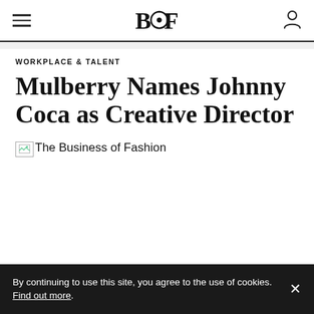BOF
WORKPLACE & TALENT
Mulberry Names Johnny Coca as Creative Director
[Figure (photo): Broken image placeholder with alt text: The Business of Fashion]
By continuing to use this site, you agree to the use of cookies. Find out more.